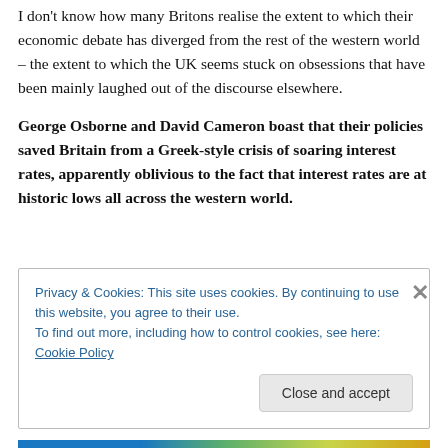I don't know how many Britons realise the extent to which their economic debate has diverged from the rest of the western world – the extent to which the UK seems stuck on obsessions that have been mainly laughed out of the discourse elsewhere.
George Osborne and David Cameron boast that their policies saved Britain from a Greek-style crisis of soaring interest rates, apparently oblivious to the fact that interest rates are at historic lows all across the western world.
Privacy & Cookies: This site uses cookies. By continuing to use this website, you agree to their use.
To find out more, including how to control cookies, see here: Cookie Policy